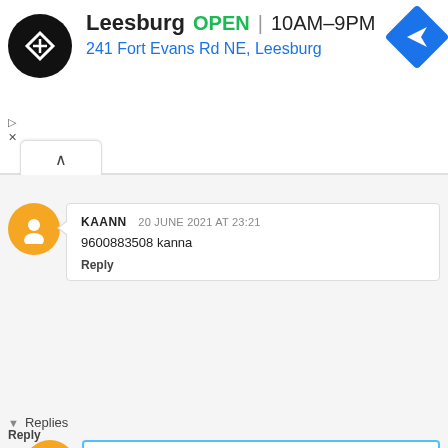[Figure (screenshot): Ad banner with Leesburg store info: logo, OPEN status, hours 10AM-9PM, address 241 Fort Evans Rd NE Leesburg, navigation icon]
KAANN  20 JUNE 2021 AT 23:21
9600883508 kanna
Reply
▼ Replies
HAKAHXBCJDNXJC  21 JULY 2022 AT 13:42
Hi
Reply